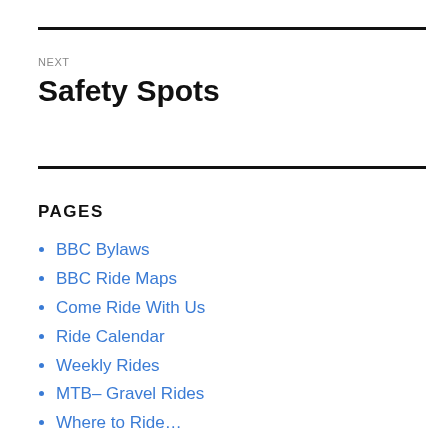NEXT
Safety Spots
PAGES
BBC Bylaws
BBC Ride Maps
Come Ride With Us
Ride Calendar
Weekly Rides
MTB– Gravel Rides
Where to Ride…